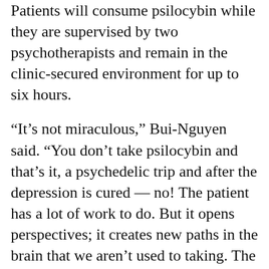Patients will consume psilocybin while they are supervised by two psychotherapists and remain in the clinic-secured environment for up to six hours.
“It’s not miraculous,” Bui-Nguyen said. “You don’t take psilocybin and that’s it, a psychedelic trip and after the depression is cured — no! The patient has a lot of work to do. But it opens perspectives; it creates new paths in the brain that we aren’t used to taking. The patient then explores new roads to get out of depression.”
In the world’s largest study on psychedelics’ affect on the brain, released in March in the journal Science Advances, lead author Danilo Bzdok said psychedelic drugs might just be the next big thing to improve clinical care of major mental health